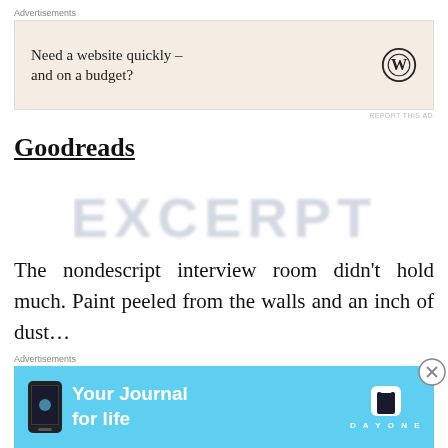Advertisements
[Figure (other): Advertisement banner: Need a website quickly – and on a budget? with WordPress logo]
REPORT THIS AD
Goodreads
[Figure (other): Watermark text reading EXCERPT in large light gray letters]
The nondescript interview room didn't hold much. Paint peeled from the walls and an inch of dust…
Advertisements
[Figure (other): Advertisement banner: Your Journal for life – Day One app, with phone mockup and DayOne logo]